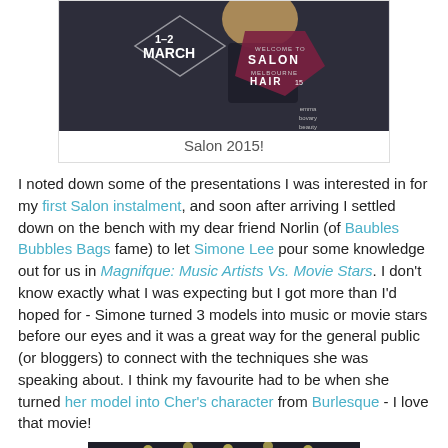[Figure (photo): Promotional poster for Salon Melbourne Hair 2015 event showing a woman with blonde hair, diamond shapes overlay, text reading 1-2 March and Welcome to Salon Melbourne Hair 15, with watermark emma bovary beauty]
Salon 2015!
I noted down some of the presentations I was interested in for my first Salon instalment, and soon after arriving I settled down on the bench with my dear friend Norlin (of Baubles Bubbles Bags fame) to let Simone Lee pour some knowledge out for us in Magnifque: Music Artists Vs. Movie Stars. I don't know exactly what I was expecting but I got more than I'd hoped for - Simone turned 3 models into music or movie stars before our eyes and it was a great way for the general public (or bloggers) to connect with the techniques she was speaking about. I think my favourite had to be when she turned her model into Cher's character from Burlesque - I love that movie!
[Figure (photo): Dark interior photo of a stage or venue with overhead lighting equipment visible]